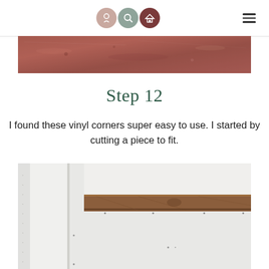Navigation header with logo icons and hamburger menu
[Figure (photo): Close-up of a weathered reddish-brown surface, possibly a painted or stained wood or concrete material]
Step 12
I found these vinyl corners super easy to use. I started by cutting a piece to fit.
[Figure (photo): Photo of a room with drywall and a wooden beam/shelf installed horizontally on the wall, showing construction work in progress with visible screws or nails]